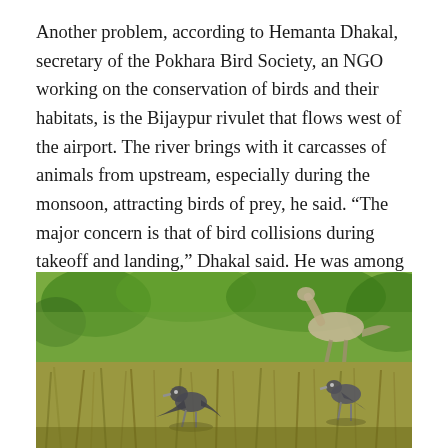Another problem, according to Hemanta Dhakal, secretary of the Pokhara Bird Society, an NGO working on the conservation of birds and their habitats, is the Bijaypur rivulet that flows west of the airport. The river brings with it carcasses of animals from upstream, especially during the monsoon, attracting birds of prey, he said. “The major concern is that of bird collisions during takeoff and landing,” Dhakal said. He was among the residents who pressed the government to revise the initial environment impact assessment of the project, which did not incorporate the threat posed to and by endangered birds.
[Figure (photo): Photograph of birds in a grassy field, with large bird (possibly crane) visible in the background and smaller birds in the foreground, surrounded by green and straw-colored grass.]